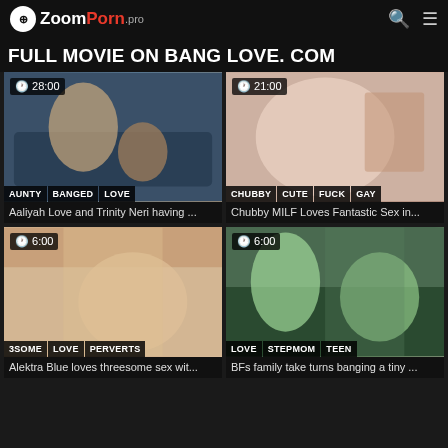ZoomPorn.pro
FULL MOVIE ON BANG LOVE. COM
[Figure (screenshot): Video thumbnail with tags AUNTY, BANGED, LOVE, duration 28:00]
Aaliyah Love and Trinity Neri having ...
[Figure (screenshot): Video thumbnail with tags CHUBBY, CUTE, FUCK, GAY, duration 21:00]
Chubby MILF Loves Fantastic Sex in...
[Figure (screenshot): Video thumbnail with tags 3SOME, LOVE, PERVERTS, duration 6:00]
Alektra Blue loves threesome sex wit...
[Figure (screenshot): Video thumbnail with tags LOVE, STEPMOM, TEEN, duration 6:00]
BFs family take turns banging a tiny ...